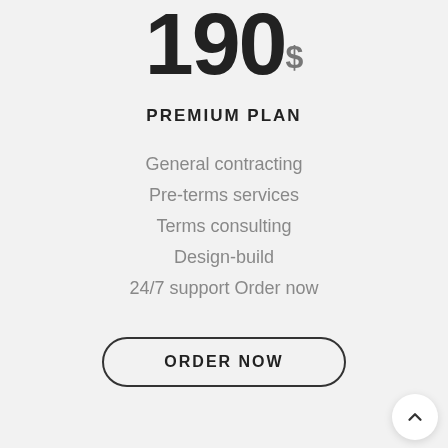190$
PREMIUM PLAN
General contracting
Pre-terms services
Terms consulting
Design-build
24/7 support Order now
ORDER NOW